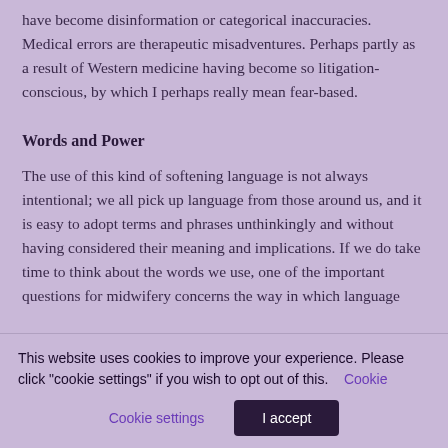have become disinformation or categorical inaccuracies. Medical errors are therapeutic misadventures. Perhaps partly as a result of Western medicine having become so litigation-conscious, by which I perhaps really mean fear-based.
Words and Power
The use of this kind of softening language is not always intentional; we all pick up language from those around us, and it is easy to adopt terms and phrases unthinkingly and without having considered their meaning and implications. If we do take time to think about the words we use, one of the important questions for midwifery concerns the way in which language
This website uses cookies to improve your experience. Please click "cookie settings" if you wish to opt out of this. Cookie settings I accept